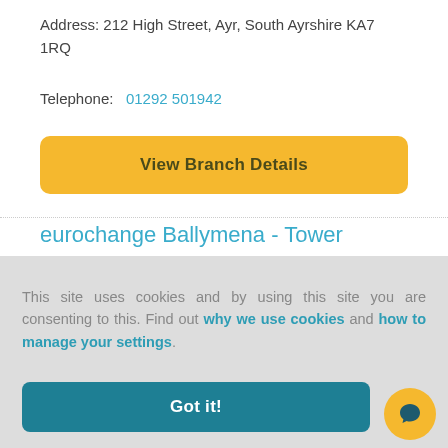Address: 212 High Street, Ayr, South Ayrshire KA7 1RQ
Telephone:  01292 501942
View Branch Details
eurochange Ballymena - Tower
This site uses cookies and by using this site you are consenting to this. Find out why we use cookies and how to manage your settings.
Got it!